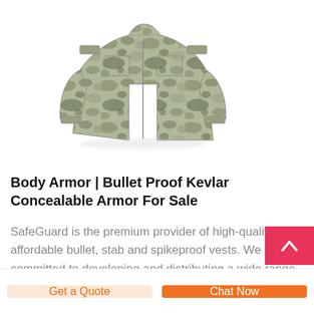[Figure (photo): Camouflage military-style tactical jacket or body armor in grey-green camo pattern, displayed on a white background, cropped at the top.]
Body Armor | Bullet Proof Kevlar Concealable Armor For Sale
SafeGuard is the premium provider of high-quality, affordable bullet, stab and spikeproof vests. We are committed to developing and distributing a wide range of ballistic, tactical, concealable and …